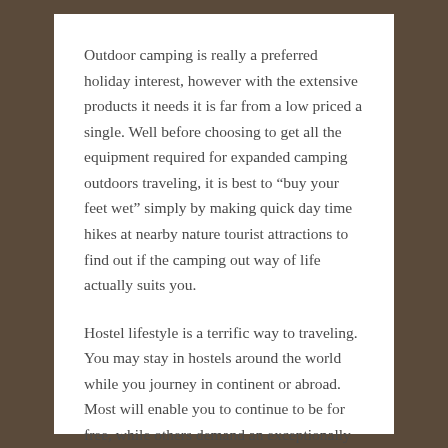Outdoor camping is really a preferred holiday interest, however with the extensive products it needs it is far from a low priced a single. Well before choosing to get all the equipment required for expanded camping outdoors traveling, it is best to “buy your feet wet” simply by making quick day time hikes at nearby nature tourist attractions to find out if the camping out way of life actually suits you.
Hostel lifestyle is a terrific way to traveling. You may stay in hostels around the world while you journey in continent or abroad. Most will enable you to continue to be for free, while others demand an exceptionally little payment or have you ever job a ltte bit for area and board whilst residing there.